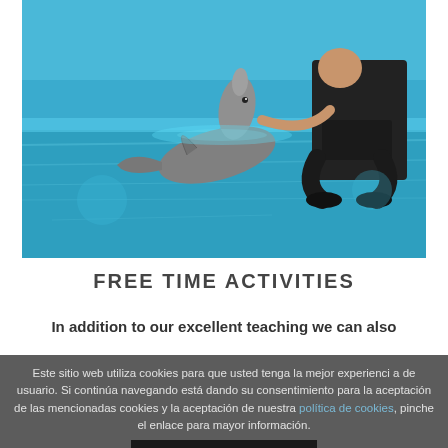[Figure (photo): A person crouching at the edge of a blue pool interacting with a dolphin that has lifted its head out of the water.]
FREE TIME ACTIVITIES
In addition to our excellent teaching we can also
Este sitio web utiliza cookies para que usted tenga la mejor experiencia de usuario. Si continúa navegando está dando su consentimiento para la aceptación de las mencionadas cookies y la aceptación de nuestra política de cookies, pinche el enlace para mayor información.
ACEPTAR